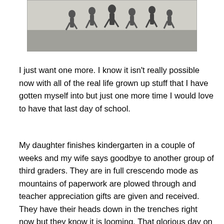[Figure (photo): Black and white photograph of children running outdoors, appearing to be on a school playground or similar setting]
I just want one more.  I know it isn't really possible now with all of the real life grown up stuff that I have gotten myself into but just one more time I would love to have that last day of school.
My daughter finishes kindergarten in a couple of weeks and my wife says goodbye to another group of third graders.  They are in full crescendo mode as mountains of paperwork are plowed through and teacher appreciation gifts are given and received.  They have their heads down in the trenches right now but they know it is looming.  That glorious day on the horizon when they finally get to exhale and and feel the weight be lifted away.